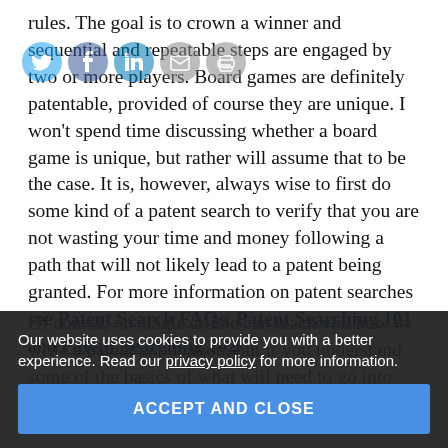rules. The goal is to crown a winner and sequential and repeatable steps are engaged by two or more players. Board games are definitely patentable, provided of course they are unique. I won't spend time discussing whether a board game is unique, but rather will assume that to be the case. It is, however, always wise to first do some kind of a patent search to verify that you are not wasting your time and money following a path that will not likely lead to a patent being granted. For more information on patent searches see Patent Search FAQs, Patent Searching 101 and Patent Searching 102.
[Figure (other): Social sharing icons: Twitter, Facebook, LinkedIn, Email, Print]
Of course, no single article can teach you how to write a patent application, but if you understand some of the basics of what will need to go into the patent a[pplication] ... may wind up with a better, more complete game in the process.
Our website uses cookies to provide you with a better experience. Read our privacy policy for more information.
ACCEPT AND CLOSE